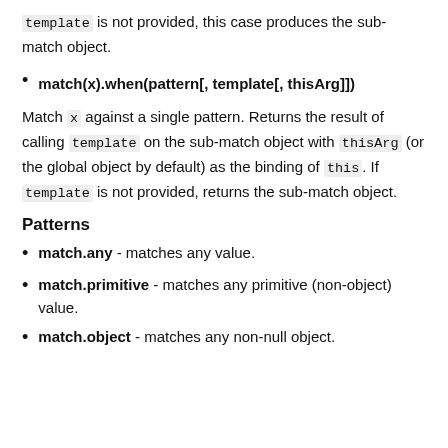template is not provided, this case produces the sub-match object.
match(x).when(pattern[, template[, thisArg]])
Match x against a single pattern. Returns the result of calling template on the sub-match object with thisArg (or the global object by default) as the binding of this. If template is not provided, returns the sub-match object.
Patterns
match.any - matches any value.
match.primitive - matches any primitive (non-object) value.
match.object - matches any non-null object.